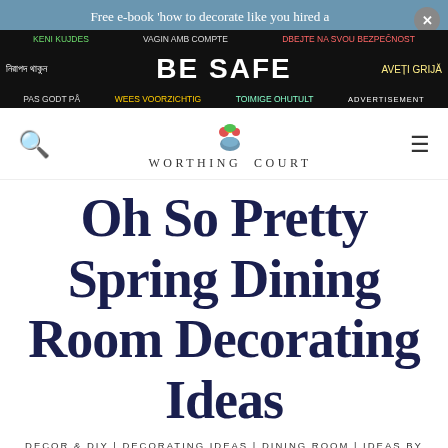[Figure (infographic): Advertisement banner with safety message in multiple languages on blue/dark background. Text reads: Free e-book 'how to decorate like you hired a [designer]'. Center has 'BE SAFE' in large white text with multilingual translations.]
[Figure (logo): Worthing Court blog logo with floral vase graphic and text WORTHING COURT in spaced serif letters]
Oh So Pretty Spring Dining Room Decorating Ideas
DECOR & DIY | DECORATING IDEAS | DINING ROOM | IDEAS BY ROOM | SEASONAL | SPRING